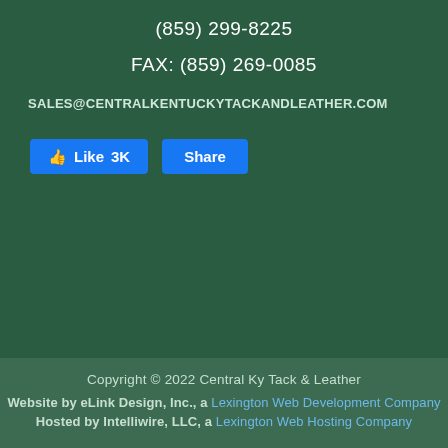(859) 299-8225
FAX: (859) 269-0085
SALES@CENTRALKENTUCKYTACKANDLEATHER.COM
[Figure (other): Facebook Like button showing 3K likes and a Share button, both in Facebook blue]
Copyright © 2022 Central Ky Tack & Leather
Website by eLink Design, Inc., a Lexington Web Development Company
Hosted by Intelliwire, LLC, a Lexington Web Hosting Company